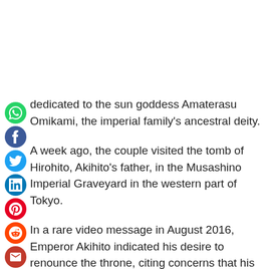dedicated to the sun goddess Amaterasu Omikami, the imperial family's ancestral deity.
A week ago, the couple visited the tomb of Hirohito, Akihito's father, in the Musashino Imperial Graveyard in the western part of Tokyo.
In a rare video message in August 2016, Emperor Akihito indicated his desire to renounce the throne, citing concerns that his advanced age and frail health could prevent him from fulfilling his official duties as the symbol of the state.